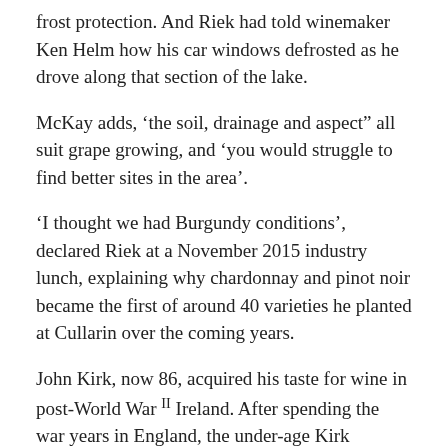frost protection. And Riek had told winemaker Ken Helm how his car windows defrosted as he drove along that section of the lake.
McKay adds, ‘the soil, drainage and aspect” all suit grape growing, and ‘you would struggle to find better sites in the area’.
‘I thought we had Burgundy conditions’, declared Riek at a November 2015 industry lunch, explaining why chardonnay and pinot noir became the first of around 40 varieties he planted at Cullarin over the coming years.
John Kirk, now 86, acquired his taste for wine in post-World War II Ireland. After spending the war years in England, the under-age Kirk returned home to become the non-drinking (he claims) cellar manager at the family’s Hydro Hotel in Lisdoonvarna, a western Ireland spa and music town.
[continues below]